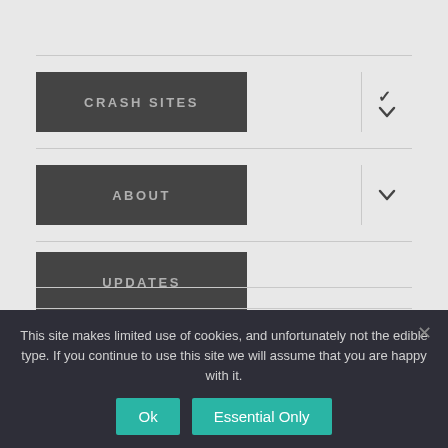CRASH SITES
ABOUT
UPDATES
CONTACT
This site makes limited use of cookies, and unfortunately not the edible type. If you continue to use this site we will assume that you are happy with it.
Ok  Essential Only